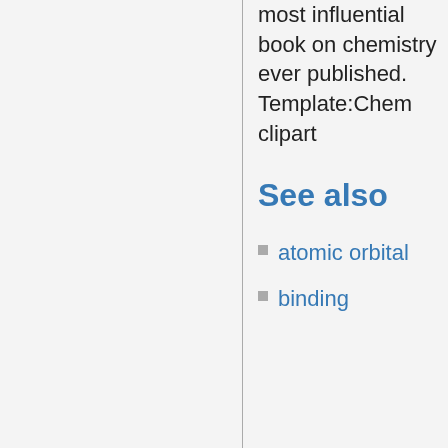most influential book on chemistry ever published. Template:Chem clipart
See also
atomic orbital
binding